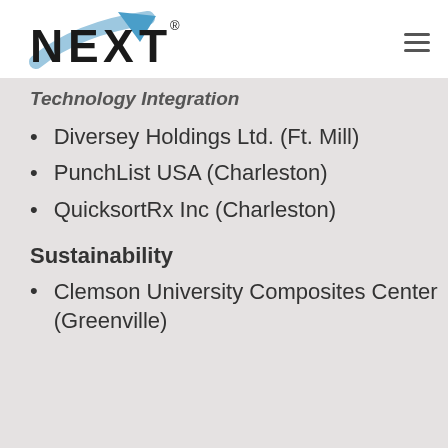[Figure (logo): NEXT logo with blue arrow swoosh and registered trademark symbol]
Technology Integration
Diversey Holdings Ltd. (Ft. Mill)
PunchList USA (Charleston)
QuicksortRx Inc (Charleston)
Sustainability
Clemson University Composites Center (Greenville)